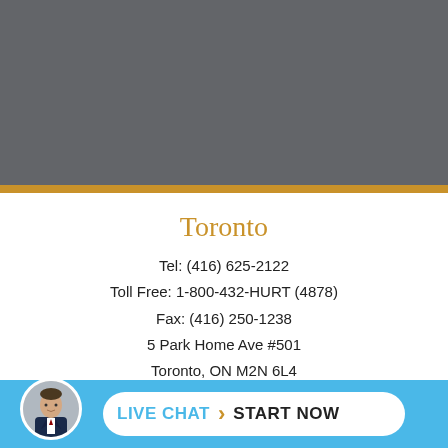[Figure (photo): Gray banner/header area at top of page]
Toronto
Tel: (416) 625-2122
Toll Free: 1-800-432-HURT (4878)
Fax: (416) 250-1238
5 Park Home Ave #501
Toronto, ON M2N 6L4
Kitchener
(Consultation Office)
[Figure (photo): Live chat bar at bottom with avatar photo of a man in suit, pill-shaped button reading LIVE CHAT > START NOW]